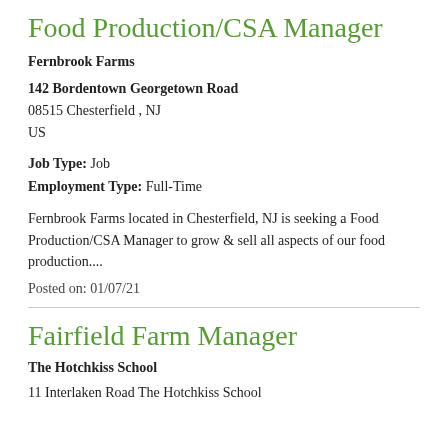Food Production/CSA Manager
Fernbrook Farms
142 Bordentown Georgetown Road
08515 Chesterfield , NJ
US
Job Type: Job
Employment Type: Full-Time
Fernbrook Farms located in Chesterfield, NJ is seeking a Food Production/CSA Manager to grow & sell all aspects of our food production....
Posted on: 01/07/21
Fairfield Farm Manager
The Hotchkiss School
11 Interlaken Road The Hotchkiss School